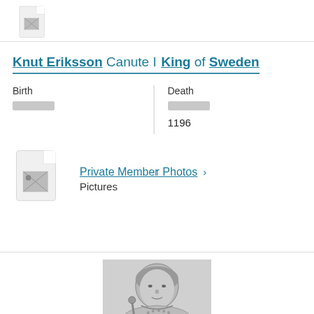[Figure (illustration): Document/file icon (small), partially visible at top]
Knut Eriksson Canute I King of Sweden
Birth
Death
1196
[Figure (illustration): Document/file icon with image placeholder]
Private Member Photos >
Pictures
[Figure (illustration): Historical engraving/portrait of Knut Eriksson (Canute I, King of Sweden), black and white]